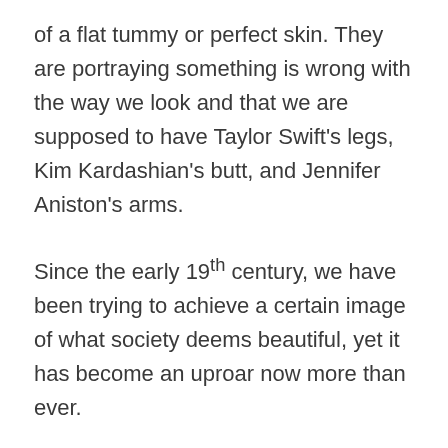of a flat tummy or perfect skin. They are portraying something is wrong with the way we look and that we are supposed to have Taylor Swift's legs, Kim Kardashian's butt, and Jennifer Aniston's arms.
Since the early 19th century, we have been trying to achieve a certain image of what society deems beautiful, yet it has become an uproar now more than ever.
Body shaming, according to the Macmillan Dictionary, is the practice of criticizing people publicly for being too fat, or less